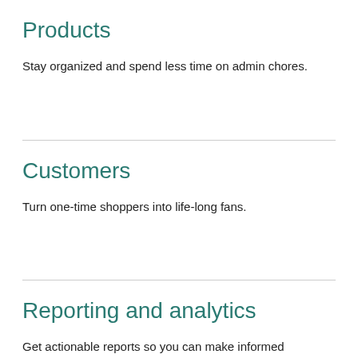Products
Stay organized and spend less time on admin chores.
Customers
Turn one-time shoppers into life-long fans.
Reporting and analytics
Get actionable reports so you can make informed